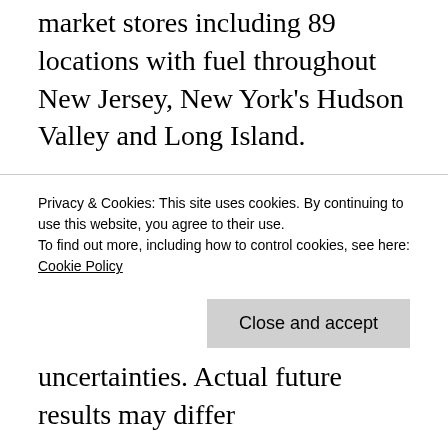market stores including 89 locations with fuel throughout New Jersey, New York's Hudson Valley and Long Island.
Certain statements in this news release contain or may suggest “forward-looking” information (as defined in the Private Securities Litigation Reform Act of 1995) that involve risk and uncertainties, including, but not limited to anticipated store openings, fuel margins, merchandise margins, sales of RINs uncertainties. Actual future results may differ
Privacy & Cookies: This site uses cookies. By continuing to use this website, you agree to their use.
To find out more, including how to control cookies, see here: Cookie Policy